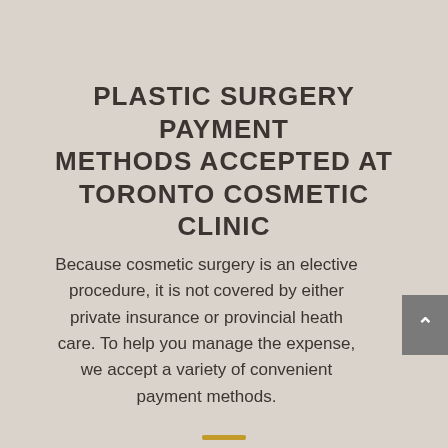PLASTIC SURGERY PAYMENT METHODS ACCEPTED AT TORONTO COSMETIC CLINIC
Because cosmetic surgery is an elective procedure, it is not covered by either private insurance or provincial heath care. To help you manage the expense, we accept a variety of convenient payment methods.